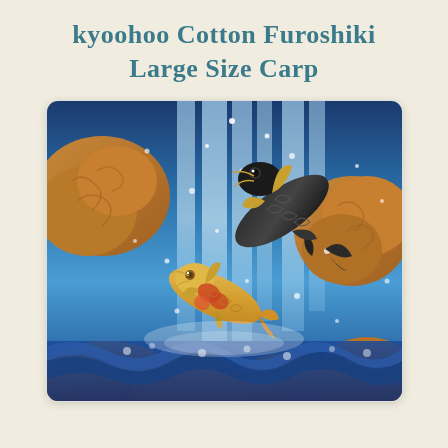kyoohoo Cotton Furoshiki Large Size Carp
[Figure (illustration): Japanese textile furoshiki cloth featuring koi carp swimming up a waterfall. Two large carp are depicted — one black and one gold/orange — against a deep blue waterfall background with white water spray bubbles and orange rock formations at the edges and bottom.]